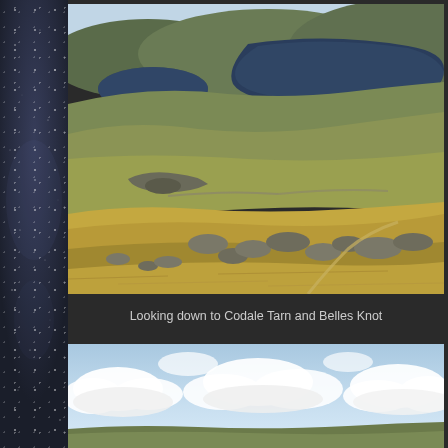[Figure (photo): Landscape photograph looking down to Codale Tarn and Belles Knot, showing a mountain tarn (lake) in the upper portion surrounded by green-brown moorland, rocky terrain with scattered boulders in the foreground, golden-brown grasses, and a second smaller tarn visible in upper left. Taken from an elevated position on a hillside.]
Looking down to Codale Tarn and Belles Knot
[Figure (photo): Photograph showing a wide sky with white fluffy clouds (cumulus) against a light blue sky, with a small strip of green hillside visible at the bottom of the frame.]